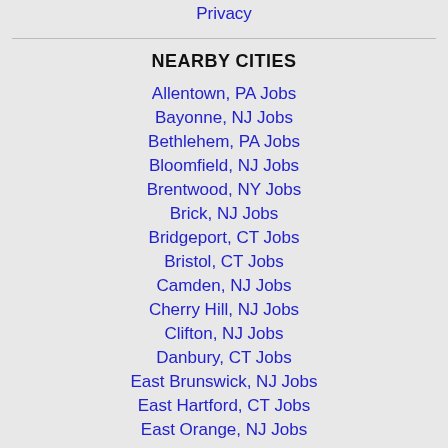Privacy
NEARBY CITIES
Allentown, PA Jobs
Bayonne, NJ Jobs
Bethlehem, PA Jobs
Bloomfield, NJ Jobs
Brentwood, NY Jobs
Brick, NJ Jobs
Bridgeport, CT Jobs
Bristol, CT Jobs
Camden, NJ Jobs
Cherry Hill, NJ Jobs
Clifton, NJ Jobs
Danbury, CT Jobs
East Brunswick, NJ Jobs
East Hartford, CT Jobs
East Orange, NJ Jobs